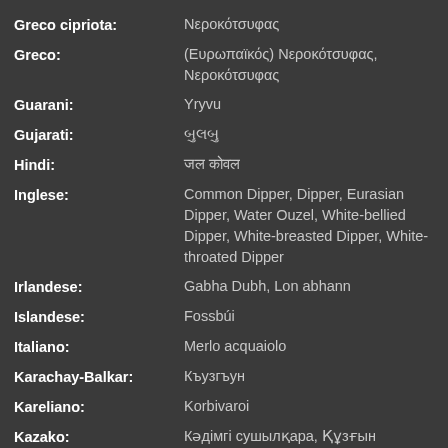Greco cipriota: Νεροκότσυφας
Greco: (Ευρωπαϊκός) Νεροκότσυφας, Νεροκότσυφας
Guarani: Yryvu
Gujarati: બુલબુલ
Hindi: जल कोवल
Inglese: Common Dipper, Dipper, Eurasian Dipper, Water Ouzel, White-bellied Dipper, White-breasted Dipper, White-throated Dipper
Irlandese: Gabha Dubh, Lon abhann
Islandese: Fossbúi
Italiano: Merlo acquaiolo
Karachay-Balkar: Къузгъун
Kareliano: Korbivaroi
Kazako: Кәдімгі сушылқара, Құзғын (Transliteration: kädimgi swşılqara)
Kechua: Misti tarajchi
Khakas: Аптыг хара
Kurmanji: Qelereşk